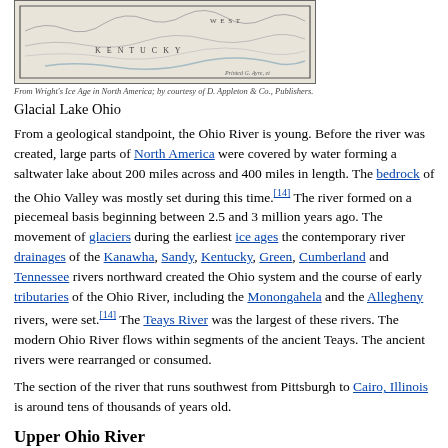[Figure (map): Map showing Glacial Lake Ohio region, depicting Kentucky and West Virginia area with topographic/glacial features. Credit: From Wright's Ice Age in North America, by courtesy of D. Appleton & Co., Publishers.]
From Wright's Ice Age in North America; by courtesy of D. Appleton & Co., Publishers.
Glacial Lake Ohio
From a geological standpoint, the Ohio River is young. Before the river was created, large parts of North America were covered by water forming a saltwater lake about 200 miles across and 400 miles in length. The bedrock of the Ohio Valley was mostly set during this time.[14] The river formed on a piecemeal basis beginning between 2.5 and 3 million years ago. The movement of glaciers during the earliest ice ages the contemporary river drainages of the Kanawha, Sandy, Kentucky, Green, Cumberland and Tennessee rivers northward created the Ohio system and the course of early tributaries of the Ohio River, including the Monongahela and the Allegheny rivers, were set.[14] The Teays River was the largest of these rivers. The modern Ohio River flows within segments of the ancient Teays. The ancient rivers were rearranged or consumed.
The section of the river that runs southwest from Pittsburgh to Cairo, Illinois is around tens of thousands of years old.
Upper Ohio River